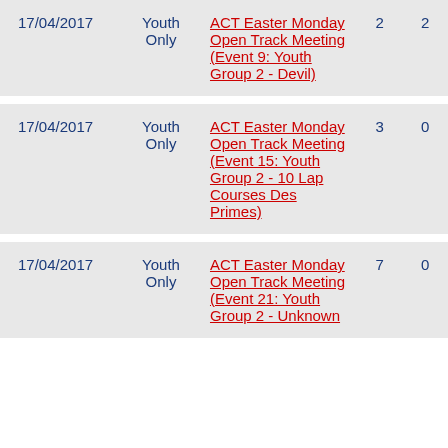| Date | Category | Event | Col1 | Col2 |
| --- | --- | --- | --- | --- |
| 17/04/2017 | Youth Only | ACT Easter Monday Open Track Meeting (Event 9: Youth Group 2 - Devil) | 2 | 2 |
| 17/04/2017 | Youth Only | ACT Easter Monday Open Track Meeting (Event 15: Youth Group 2 - 10 Lap Courses Des Primes) | 3 | 0 |
| 17/04/2017 | Youth Only | ACT Easter Monday Open Track Meeting (Event 21: Youth Group 2 - Unknown | 7 | 0 |